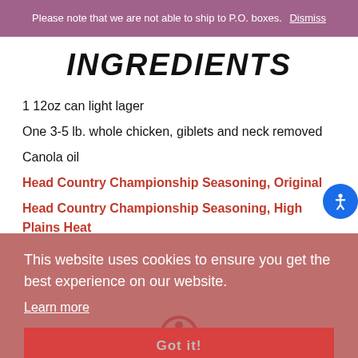Please note that we are not able to ship to P.O. boxes. Dismiss
INGREDIENTS
1 12oz can light lager
One 3-5 lb. whole chicken, giblets and neck removed
Canola oil
Head Country Championship Seasoning, Original
Head Country Championship Seasoning, High Plains Heat
This website uses cookies to ensure you get the best experience on our website. Learn more
Got it!